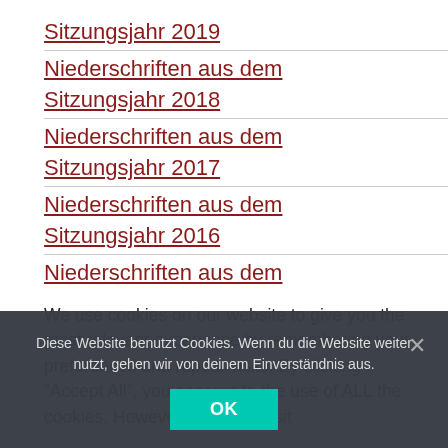Sitzungsjahr 2019
Niederschriften aus dem Sitzungsjahr 2018
Niederschriften aus dem Sitzungsjahr 2017
Niederschriften aus dem Sitzungsjahr 2016
Niederschriften aus dem Sitzungsjahr 2015
Niederschriften aus dem
We use cookies on our website to give you the most relevant experience by remembering your preferences and repeat visits. By clicking “Accept All”, you consent to the use of ALL the cookies. However, you may visit
Diese Website benutzt Cookies. Wenn du die Website weiter nutzt, gehen wir von deinem Einverständnis aus.
OK